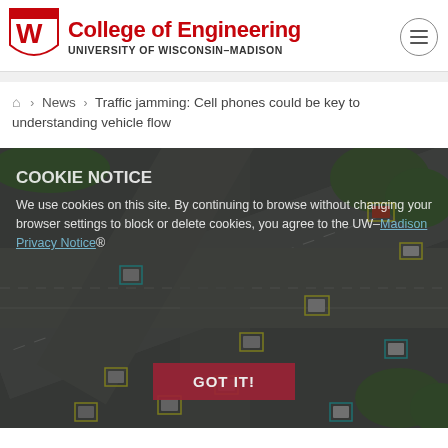College of Engineering — UNIVERSITY OF WISCONSIN-MADISON
🏠 > News > Traffic jamming: Cell phones could be key to understanding vehicle flow
[Figure (photo): Aerial overhead view of an intersection with multiple cars detected and highlighted with yellow and cyan bounding boxes. A cookie consent notice overlay reads: COOKIE NOTICE — We use cookies on this site. By continuing to browse without changing your browser settings to block or delete cookies, you agree to the UW-Madison Privacy Notice. GOT IT! button is visible.]